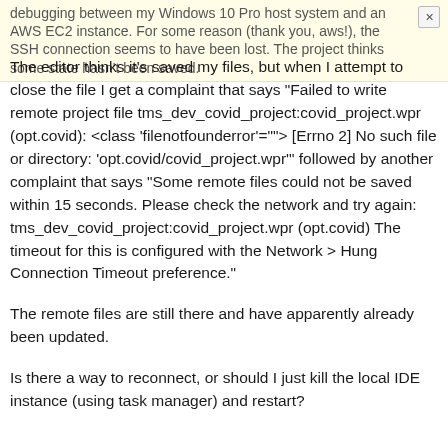debugging between my Windows 10 Pro host system and an AWS EC2 instance. For some reason (thank you, aws!), the SSH connection seems to have been lost. The project thinks some state hasn't been saved.
The editor thinks it's saved my files, but when I attempt to close the file I get a complaint that says "Failed to write remote project file tms_dev_covid_project:covid_project.wpr (opt.covid): <class 'filenotfounderror'=""> [Errno 2] No such file or directory: 'opt.covid/covid_project.wpr'" followed by another complaint that says "Some remote files could not be saved within 15 seconds. Please check the network and try again: tms_dev_covid_project:covid_project.wpr (opt.covid) The timeout for this is configured with the Network > Hung Connection Timeout preference."
The remote files are still there and have apparently already been updated.
Is there a way to reconnect, or should I just kill the local IDE instance (using task manager) and restart?